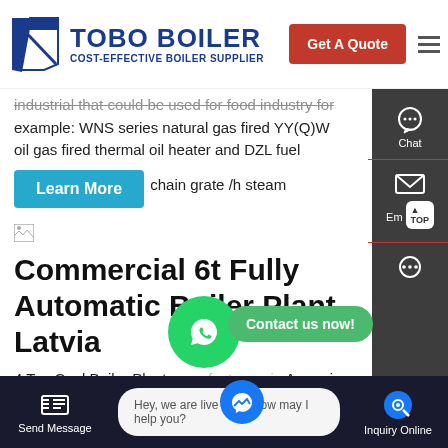[Figure (logo): TOBO BOILER logo with blue geometric icon, blue bold text 'TOBO BOILER', subtitle 'COST-EFFECTIVE BOILER SUPPLIER', red 'Get A Quote' button and hamburger menu]
industrial that could be used for food industry for example: WNS series natural gas fired YY(Q)W oil gas fired thermal oil heater and DZL fuel chain grate /h steam
[Figure (screenshot): Learn More button in teal/cyan color]
[Figure (photo): Small broken image icon placeholder]
Commercial 6t Fully Automatic Boiler Plant Latvia
4 Ton Coal Boiler Plant manufacturers in Armenia. 4 ton wood powered boiler. 4 ton wood chip or biomass fired water tube industrial
[Figure (screenshot): WhatsApp green circle icon overlay with 'Contact us now!' green button]
[Figure (screenshot): Messenger blue circle overlay]
Send Message | Hey, we are live 24/7. How may I help you? | Inquiry Online